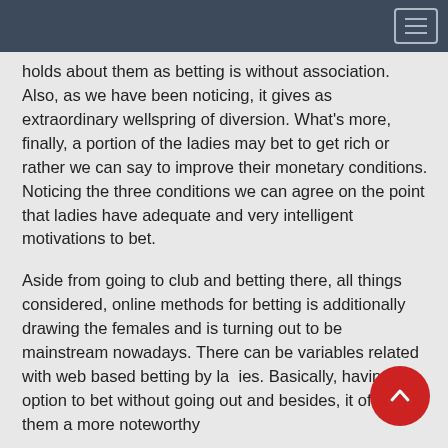holds about them as betting is without association. Also, as we have been noticing, it gives as extraordinary wellspring of diversion. What’s more, finally, a portion of the ladies may bet to get rich or rather we can say to improve their monetary conditions. Noticing the three conditions we can agree on the point that ladies have adequate and very intelligent motivations to bet.
Aside from going to club and betting there, all things considered, online methods for betting is additionally drawing the females and is turning out to be mainstream nowadays. There can be variables related with web based betting by ladies. Basically, having the option to bet without going out and besides, it offers them a more noteworthy